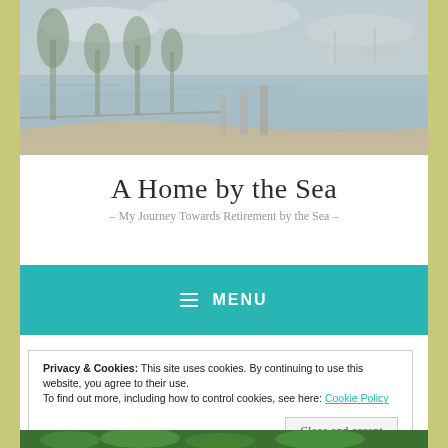[Figure (photo): Waterfront scene with trees, path, bollards/sculptures, and marina with boats in background under cloudy sky]
A Home by the Sea
– My Journey Towards Retirement by the Sea –
MENU
Privacy & Cookies: This site uses cookies. By continuing to use this website, you agree to their use.
To find out more, including how to control cookies, see here: Cookie Policy
Close and accept
[Figure (photo): Green leafy plant/garden at bottom of page]